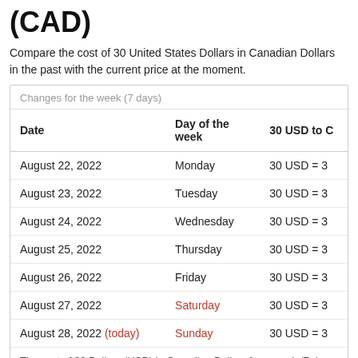(CAD)
Compare the cost of 30 United States Dollars in Canadian Dollars in the past with the current price at the moment.
| Date | Day of the week | 30 USD to C |
| --- | --- | --- |
| August 22, 2022 | Monday | 30 USD = 3 |
| August 23, 2022 | Tuesday | 30 USD = 3 |
| August 24, 2022 | Wednesday | 30 USD = 3 |
| August 25, 2022 | Thursday | 30 USD = 3 |
| August 26, 2022 | Friday | 30 USD = 3 |
| August 27, 2022 | Saturday | 30 USD = 3 |
| August 28, 2022 (today) | Sunday | 30 USD = 3 |
The cost of 30 Dollars (USD) in Canadian Dollars for a week (7 da